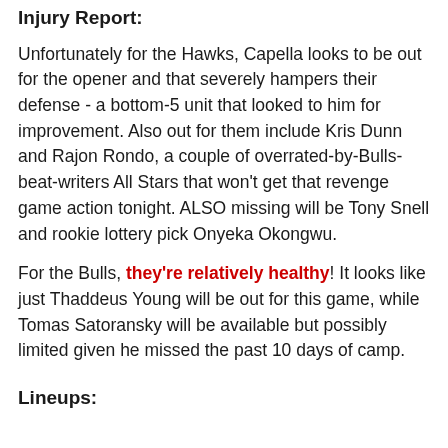Injury Report:
Unfortunately for the Hawks, Capella looks to be out for the opener and that severely hampers their defense - a bottom-5 unit that looked to him for improvement. Also out for them include Kris Dunn and Rajon Rondo, a couple of overrated-by-Bulls-beat-writers All Stars that won’t get that revenge game action tonight. ALSO missing will be Tony Snell and rookie lottery pick Onyeka Okongwu.
For the Bulls, they’re relatively healthy! It looks like just Thaddeus Young will be out for this game, while Tomas Satoransky will be available but possibly limited given he missed the past 10 days of camp.
Lineups: